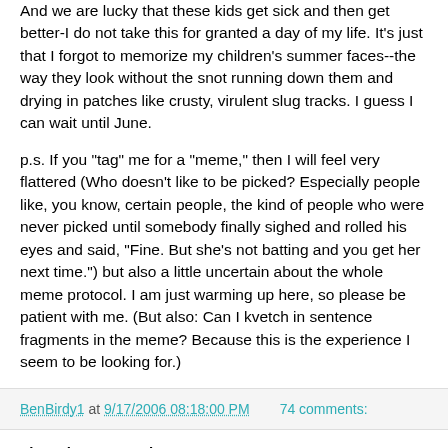And we are lucky that these kids get sick and then get better-I do not take this for granted a day of my life. It's just that I forgot to memorize my children's summer faces--the way they look without the snot running down them and drying in patches like crusty, virulent slug tracks. I guess I can wait until June.
p.s. If you "tag" me for a "meme," then I will feel very flattered (Who doesn't like to be picked? Especially people like, you know, certain people, the kind of people who were never picked until somebody finally sighed and rolled his eyes and said, "Fine. But she's not batting and you get her next time.") but also a little uncertain about the whole meme protocol. I am just warming up here, so please be patient with me. (But also: Can I kvetch in sentence fragments in the meme? Because this is the experience I seem to be looking for.)
BenBirdy1 at 9/17/2006 08:18:00 PM    74 comments:
Thursday, September 07, 2006